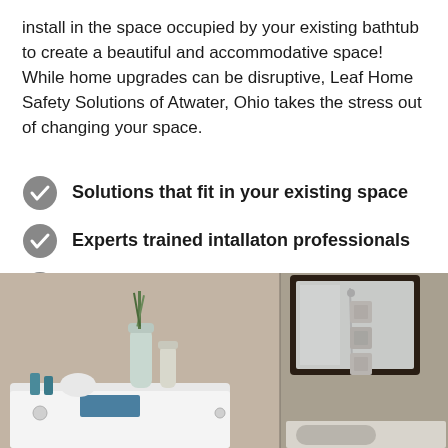install in the space occupied by your existing bathtub to create a beautiful and accommodative space! While home upgrades can be disruptive, Leaf Home Safety Solutions of Atwater, Ohio takes the stress out of changing your space.
Solutions that fit in your existing space
Experts trained intallaton professionals
Limited Lifetime Warranty
Financing available
[Figure (photo): Bathroom scene showing a walk-in bathtub with accessories on the left side, and a mirror with sink on the right side. Beige/grey tones throughout.]